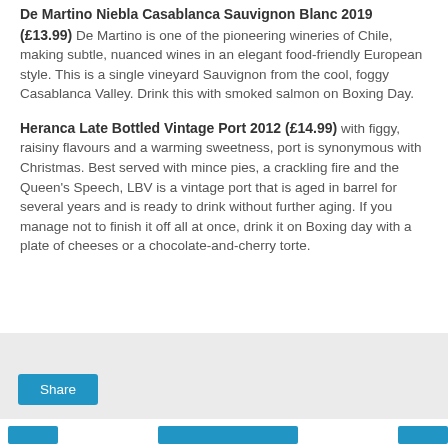De Martino Niebla Casablanca Sauvignon Blanc 2019 (£13.99) De Martino is one of the pioneering wineries of Chile, making subtle, nuanced wines in an elegant food-friendly European style. This is a single vineyard Sauvignon from the cool, foggy Casablanca Valley. Drink this with smoked salmon on Boxing Day.
Heranca Late Bottled Vintage Port 2012 (£14.99) with figgy, raisiny flavours and a warming sweetness, port is synonymous with Christmas. Best served with mince pies, a crackling fire and the Queen's Speech, LBV is a vintage port that is aged in barrel for several years and is ready to drink without further aging. If you manage not to finish it off all at once, drink it on Boxing day with a plate of cheeses or a chocolate-and-cherry torte.
[Figure (other): Light grey box with a blue Share button in the lower-left corner, representing a social share widget.]